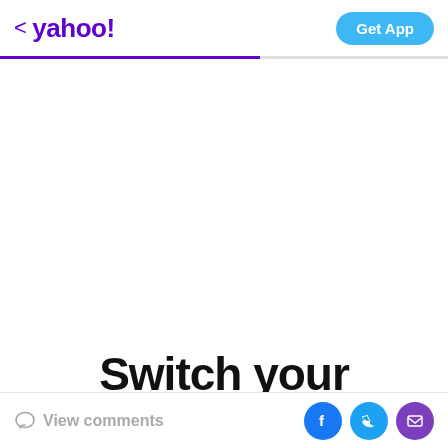< yahoo!   Get App
[Figure (other): Advertisement area (white/blank space)]
Switch your business to
Upon landing back at the airport, police boarded the
View comments  [Facebook] [Twitter] [Email]